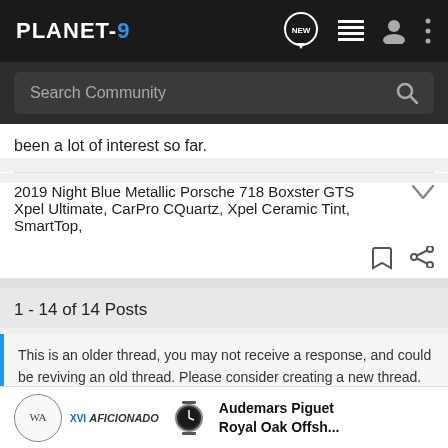PLANET-9 [navigation bar with NEW, list, user, and menu icons]
Search Community
been a lot of interest so far.
2019 Night Blue Metallic Porsche 718 Boxster GTS
Xpel Ultimate, CarPro CQuartz, Xpel Ceramic Tint, SmartTop,
1 - 14 of 14 Posts
This is an older thread, you may not receive a response, and could be reviving an old thread. Please consider creating a new thread.
[Figure (screenshot): Advertisement banner for Audemars Piguet Royal Oak Offsh... with watch image and Aficionado branding]